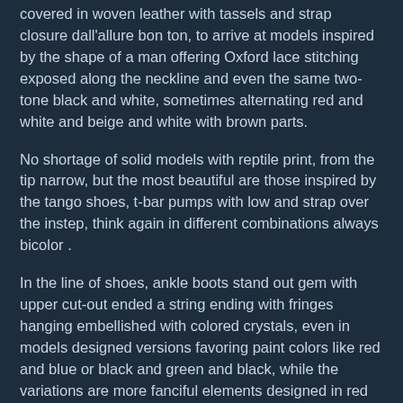covered in woven leather with tassels and strap closure dall'allure bon ton, to arrive at models inspired by the shape of a man offering Oxford lace stitching exposed along the neckline and even the same two-tone black and white, sometimes alternating red and white and beige and white with brown parts.
No shortage of solid models with reptile print, from the tip narrow, but the most beautiful are those inspired by the tango shoes, t-bar pumps with low and strap over the instep, think again in different combinations always bicolor .
In the line of shoes, ankle boots stand out gem with upper cut-out ended a string ending with fringes hanging embellished with colored crystals, even in models designed versions favoring paint colors like red and blue or black and green and black, while the variations are more fanciful elements designed in red paint with black and beige, and even purple-tipped toe cap, price lists and twisted straps indigo as the stiletto heel.
The collection concludes with the cap toe, tip models